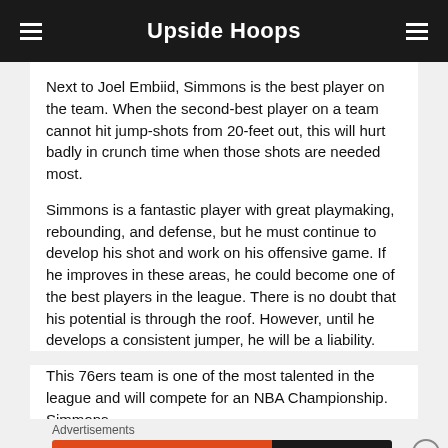Upside Hoops
Next to Joel Embiid, Simmons is the best player on the team. When the second-best player on a team cannot hit jump-shots from 20-feet out, this will hurt badly in crunch time when those shots are needed most.
Simmons is a fantastic player with great playmaking, rebounding, and defense, but he must continue to develop his shot and work on his offensive game. If he improves in these areas, he could become one of the best players in the league. There is no doubt that his potential is through the roof. However, until he develops a consistent jumper, he will be a liability.
This 76ers team is one of the most talented in the league and will compete for an NBA Championship. Simmons
Advertisements
[Figure (other): DuckDuckGo advertisement banner: Search, browse, and email with more privacy. All in One Free App]